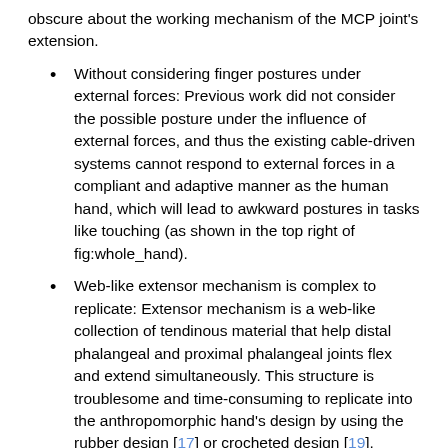obscure about the working mechanism of the MCP joint's extension.
Without considering finger postures under external forces: Previous work did not consider the possible posture under the influence of external forces, and thus the existing cable-driven systems cannot respond to external forces in a compliant and adaptive manner as the human hand, which will lead to awkward postures in tasks like touching (as shown in the top right of fig:whole_hand).
Web-like extensor mechanism is complex to replicate: Extensor mechanism is a web-like collection of tendinous material that help distal phalangeal and proximal phalangeal joints flex and extend simultaneously. This structure is troublesome and time-consuming to replicate into the anthropomorphic hand's design by using the rubber design [17] or crocheted design [19].
Thumb cannot fit contact surfaces without pronation DOF: In previous work, the thumb has 4 DOFs which are sufficient for thumb's fingertip to reach any point